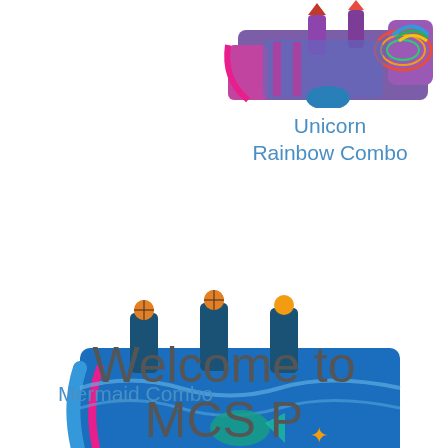[Figure (photo): Inflatable bounce house combo in purple, blue, pink colors with rainbow arch - Unicorn Rainbow Combo]
Unicorn
Rainbow Combo
[Figure (photo): Inflatable bounce house combo in blue and pink colors with mermaid/ocean theme - Mermaid Combo]
Mermaid Combo
Welcome to
MCS P...